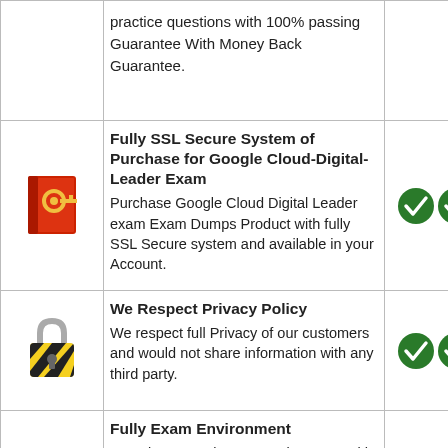| Icon | Content | Checks |
| --- | --- | --- |
| [text icon] | practice questions with 100% passing Guarantee With Money Back Guarantee. |  |
| [ssl icon] | Fully SSL Secure System of Purchase for Google Cloud-Digital-Leader Exam
Purchase Google Cloud Digital Leader exam Exam Dumps Product with fully SSL Secure system and available in your Account. | ✓✓ |
| [lock icon] | We Respect Privacy Policy
We respect full Privacy of our customers and would not share information with any third party. | ✓✓ |
| [folder icon] | Fully Exam Environment
Experience Real Exam Environment with our Google Cloud Digital Leader exam testing engine. | ✓✓ |
| [icon] |  |  |